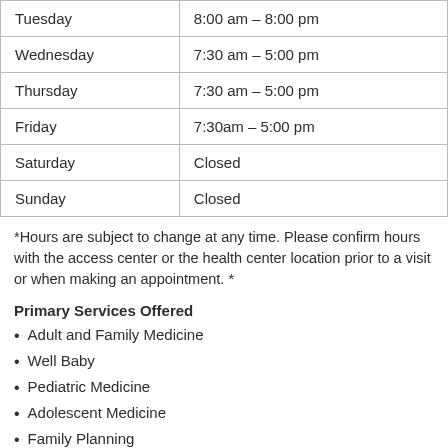| Day | Hours |
| --- | --- |
| Tuesday | 8:00 am – 8:00 pm |
| Wednesday | 7:30 am – 5:00 pm |
| Thursday | 7:30 am – 5:00 pm |
| Friday | 7:30am – 5:00 pm |
| Saturday | Closed |
| Sunday | Closed |
*Hours are subject to change at any time. Please confirm hours with the access center or the health center location prior to a visit or when making an appointment. *
Primary Services Offered
Adult and Family Medicine
Well Baby
Pediatric Medicine
Adolescent Medicine
Family Planning
Behavioral Health
Dental